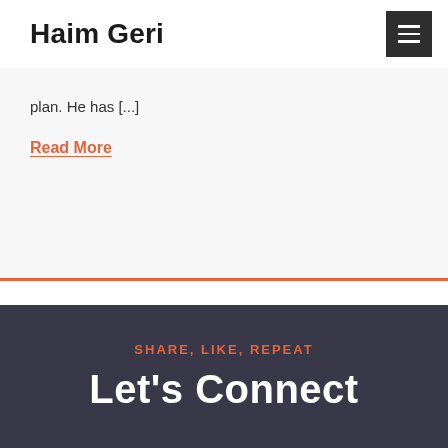Haim Geri
plan. He has [...]
Read More
SHARE, LIKE, REPEAT
Let's Connect